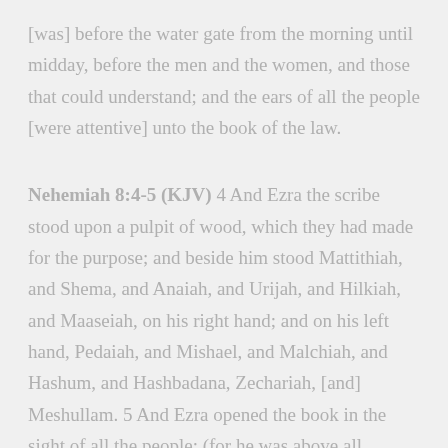[was] before the water gate from the morning until midday, before the men and the women, and those that could understand; and the ears of all the people [were attentive] unto the book of the law.
Nehemiah 8:4-5 (KJV) 4 And Ezra the scribe stood upon a pulpit of wood, which they had made for the purpose; and beside him stood Mattithiah, and Shema, and Anaiah, and Urijah, and Hilkiah, and Maaseiah, on his right hand; and on his left hand, Pedaiah, and Mishael, and Malchiah, and Hashum, and Hashbadana, Zechariah, [and] Meshullam. 5 And Ezra opened the book in the sight of all the people; (for he was above all